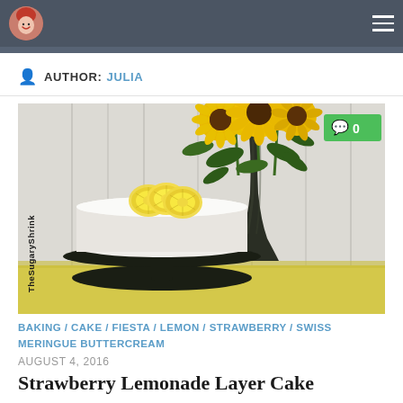AUTHOR: JULIA
[Figure (photo): A white frosted cake on a dark cake stand, topped with lemon slices, placed in front of a dark vase with sunflowers, on a yellow surface with white curtain backdrop. Watermark text 'TheSugaryShrin_' along left edge. Green comment badge '0' in top right corner.]
BAKING / CAKE / FIESTA / LEMON / STRAWBERRY / SWISS MERINGUE BUTTERCREAM
AUGUST 4, 2016
Strawberry Lemonade Layer Cake